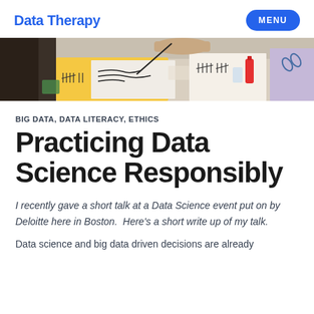Data Therapy | MENU
[Figure (photo): Workshop photo showing people working with papers, yellow and white sheets on a table with craft supplies including scissors and bottles]
BIG DATA, DATA LITERACY, ETHICS
Practicing Data Science Responsibly
I recently gave a short talk at a Data Science event put on by Deloitte here in Boston.  Here's a short write up of my talk.
Data science and big data driven decisions are already